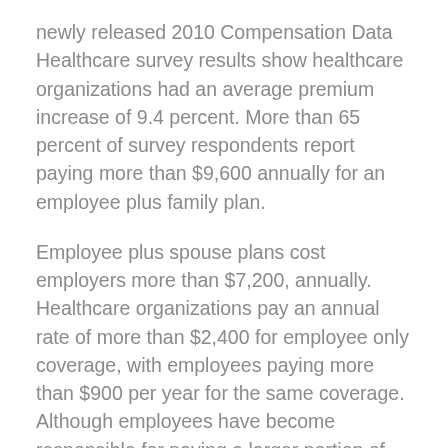newly released 2010 Compensation Data Healthcare survey results show healthcare organizations had an average premium increase of 9.4 percent. More than 65 percent of survey respondents report paying more than $9,600 annually for an employee plus family plan.
Employee plus spouse plans cost employers more than $7,200, annually. Healthcare organizations pay an annual rate of more than $2,400 for employee only coverage, with employees paying more than $900 per year for the same coverage. Although employees have become responsible for paying a larger portion of their medical insurance premiums over the last few years, employers still cover more than 70 percent of the total cost.
“Employers have been feeling the financial pinch of increasing medical costs for several years now,” said